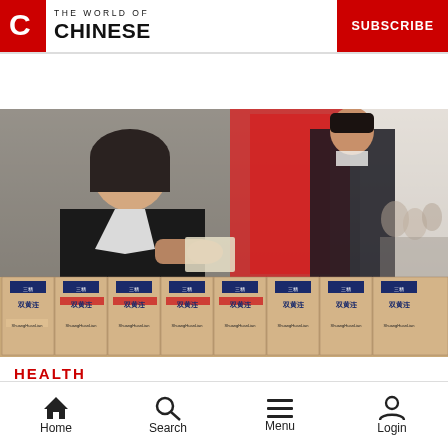THE WORLD OF CHINESE | SUBSCRIBE
[Figure (photo): Woman in black uniform standing behind a row of Chinese medicine product boxes (三精双黄连) at what appears to be a trade show or pharmacy event. A man in a black suit is visible in the background.]
HEALTH